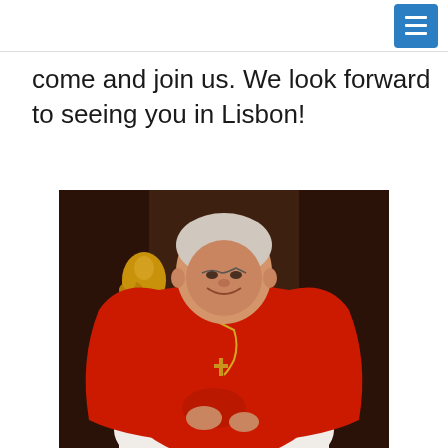come and join us. We look forward to seeing you in Lisbon!
[Figure (photo): A cardinal in full red vestments (mozzetta and rochet) wearing a gold cross pectoral cross on a chain, smiling, standing in front of a wooden backdrop with a golden statue of a religious figure in the background.]